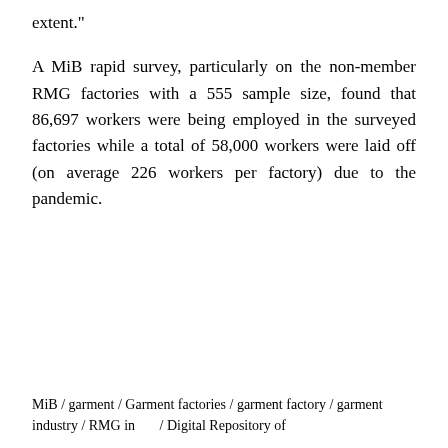extent."

A MiB rapid survey, particularly on the non-member RMG factories with a 555 sample size, found that 86,697 workers were being employed in the surveyed factories while a total of 58,000 workers were laid off (on average 226 workers per factory) due to the pandemic.
MiB / garment / Garment factories / garment factory / garment industry / RMG industry / Digital Repository of